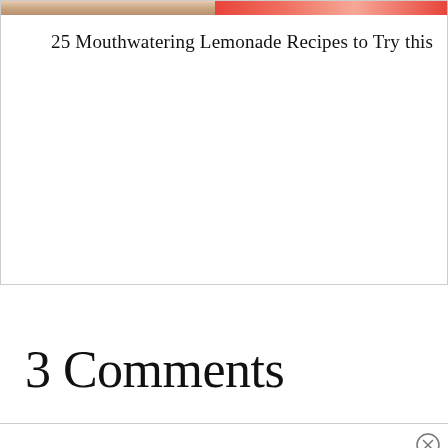[Figure (photo): Partial view of a card with two food/drink photos side by side at the top, partially cropped]
25 Mouthwatering Lemonade Recipes to Try this Su
3 Comments
Reply...